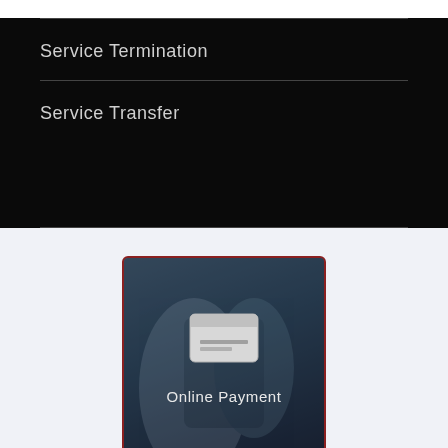Service Termination
Service Transfer
[Figure (illustration): Online Payment button with credit card icon on a dark blue-grey background with red border, showing hands holding a phone in the background]